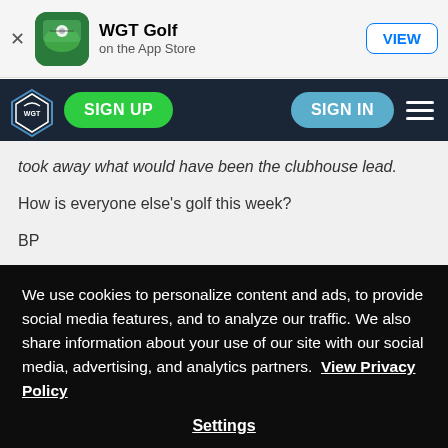[Figure (screenshot): App Store banner for WGT Golf app with close button, icon, title, subtitle and VIEW button]
[Figure (screenshot): WGT website navigation bar with logo, SIGN UP and SIGN IN buttons and hamburger menu]
took away what would have been the clubhouse lead.
How is everyone else's golf this week?
BP
We use cookies to personalize content and ads, to provide social media features, and to analyze our traffic. We also share information about your use of our site with our social media, advertising, and analytics partners. View Privacy Policy
Settings
OK